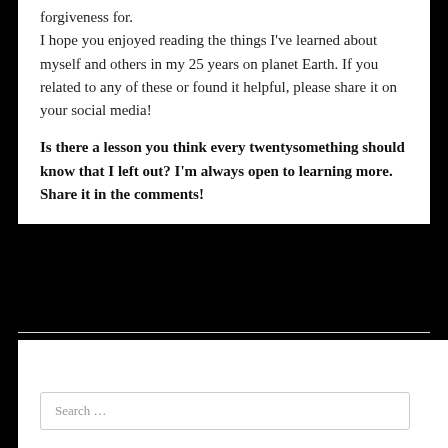forgiveness for.
I hope you enjoyed reading the things I've learned about myself and others in my 25 years on planet Earth. If you related to any of these or found it helpful, please share it on your social media!
Is there a lesson you think every twentysomething should know that I left out? I'm always open to learning more. Share it in the comments!
Search …
- CATEGORIES -